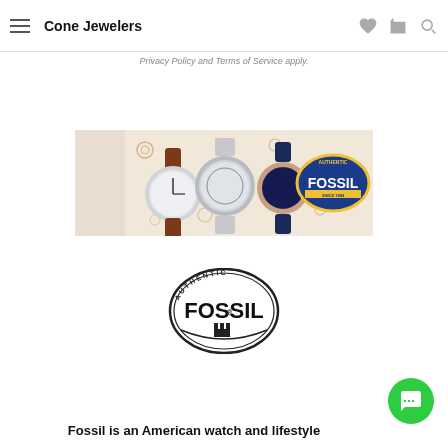Cone Jewelers
Privacy Policy and Terms of Service apply.
[Figure (photo): Fossil brand banner showing three skeleton watches (one with brown leather strap, one silver bracelet, one with navy strap) arranged on a beige background with gear decorations, with the authentic Fossil oval logo on the right side.]
[Figure (logo): Authentic Fossil oval logo in black and white with the text FOSSIL in large bold letters and 'AUTHENTIC' around the top arc.]
Fossil is an American watch and lifestyle